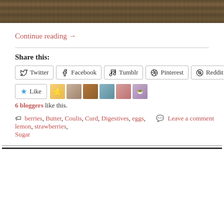[Figure (photo): Wood grain texture photo at top of page]
Continue reading →
Share this:
Twitter  Facebook  Tumblr  Pinterest  Reddit
[Figure (infographic): Like button and 6 blogger avatar thumbnails]
6 bloggers like this.
berries, Butter, Coulis, Curd, Digestives, eggs, lemon, strawberries, Sugar  |  Leave a comment